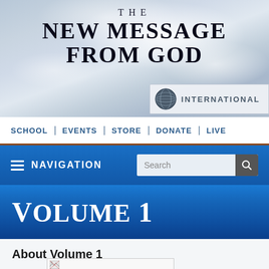[Figure (illustration): Website header with cloudy sky background featuring the title 'THE NEW MESSAGE FROM GOD' in bold serif font, and an 'INTERNATIONAL' badge with globe icon in the lower right]
THE | NEW MESSAGE | FROM GOD
INTERNATIONAL
SCHOOL | EVENTS | STORE | DONATE | LIVE
NAVIGATION
VOLUME 1
About Volume 1
[Figure (photo): Broken/loading image placeholder]